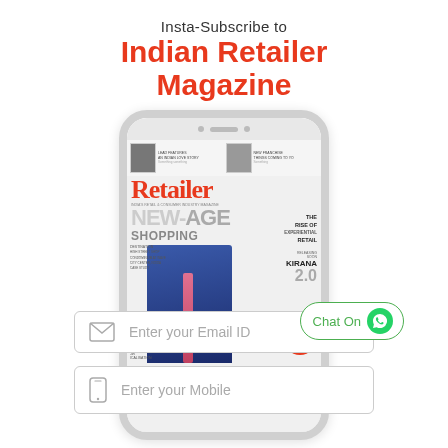Insta-Subscribe to Indian Retailer Magazine
[Figure (illustration): Smartphone mockup showing the cover of Indian Retailer Magazine with a man in a blue suit, featuring headlines: NEW-AGE SHOPPING, DESTINATION, KIRANA 2.0, RELEASING SOON, ARE YOU AT IReC 2019, THE RISE OF EXPERIENTIAL RETAIL]
Enter your Email ID
Chat On
Enter your Mobile